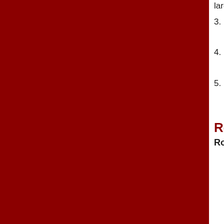large beets into 1/2 inch cubes or s
3. Pack into clean, hot jars, leaving 1 pints; 1 teaspoon to quarts, if desi
4. Fill jars to 1 inch from top with boi knife to remove air bubbles. Wipe
5. Process in a Dial Gauge Pressure Weighted Gauge Pressure Canne 30 minutes and quarts for 35 minu
Recipes
Roasted Beets with Dijon Dressing
3 pounds beets, uniform in size (al
4 tablespoons olive oil
1 teaspoon salt
1/2 teaspoon black pepper
1 tablespoon Dijon mustard
juice of one orange
1 teaspoon sugar
1 tablespoon red wine vinegar
1 tablespoon fresh rosemary, chop
1. Preheat oven to 400 de... W